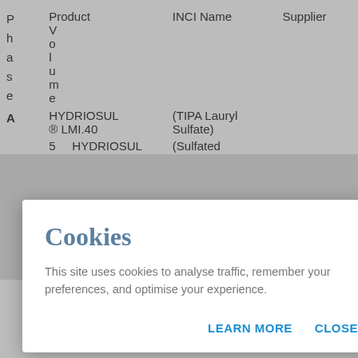| Phase | Product Volume | INCI Name | Supplier |
| --- | --- | --- | --- |
| A | HYDRIOSUL ® LMI.40 | (TIPA Lauryl Sulfate) |  |
|  | 5    HYDRIOSUL | (Sulfated |  |
|  | Perfume "Nature" | (Parfum) |  |
|  | PO225385 |  |  |
[Figure (screenshot): Cookie consent modal overlay with title 'Cookies', body text 'This site uses cookies to analyse traffic, remember your preferences, and optimise your experience.', and two buttons: 'LEARN MORE' and 'CLOSE']